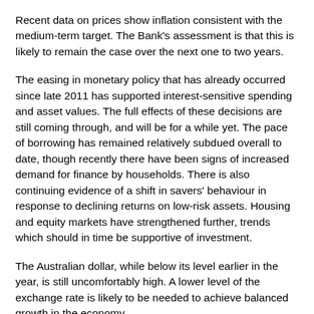Recent data on prices show inflation consistent with the medium-term target. The Bank's assessment is that this is likely to remain the case over the next one to two years.
The easing in monetary policy that has already occurred since late 2011 has supported interest-sensitive spending and asset values. The full effects of these decisions are still coming through, and will be for a while yet. The pace of borrowing has remained relatively subdued overall to date, though recently there have been signs of increased demand for finance by households. There is also continuing evidence of a shift in savers' behaviour in response to declining returns on low-risk assets. Housing and equity markets have strengthened further, trends which should in time be supportive of investment.
The Australian dollar, while below its level earlier in the year, is still uncomfortably high. A lower level of the exchange rate is likely to be needed to achieve balanced growth in the economy.
At today's meeting, the Board judged that the setting of monetary